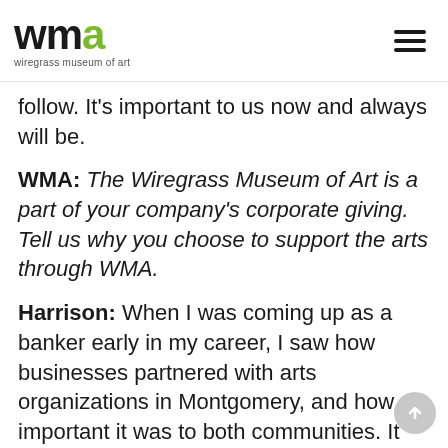wma wiregrass museum of art
follow. It’s important to us now and always will be.
WMA: The Wiregrass Museum of Art is a part of your company’s corporate giving. Tell us why you choose to support the arts through WMA.
Harrison: When I was coming up as a banker early in my career, I saw how businesses partnered with arts organizations in Montgomery, and how important it was to both communities. It really built an awareness in me of what those partnerships could do. Dothan should be doing the same, building support between businesses and the